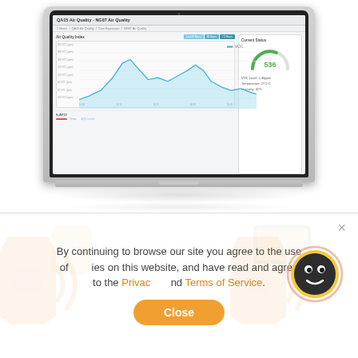[Figure (screenshot): MacBook laptop displaying an air quality monitoring dashboard with a line chart showing Air Quality Index (VOC ppm readings over time), a gauge showing current status value 536, VOC Level: 5.36ppm, Temperature: 27.5°C, Humidity: 32%]
[Figure (illustration): Orange air quality sensor device (Iaqua brand) with WiFi signal waves icon on left, and orange desktop monitor icon on right]
By continuing to browse our site you agree to the use of cookies on this website, and have read and agree to the Privacy Policy and Terms of Service.
Close